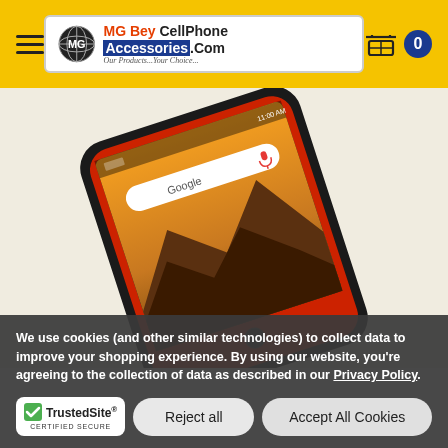[Figure (logo): MG Bey CellPhone Accessories .Com website header with yellow background, hamburger menu, logo, and shopping cart icon showing 0 items]
[Figure (photo): A smartphone with a red and black protective case, displayed at an angle showing the screen with a Google search bar and a mountain landscape wallpaper]
We use cookies (and other similar technologies) to collect data to improve your shopping experience. By using our website, you're agreeing to the collection of data as described in our Privacy Policy.
TrustedSite CERTIFIED SECURE
Reject all
Accept All Cookies